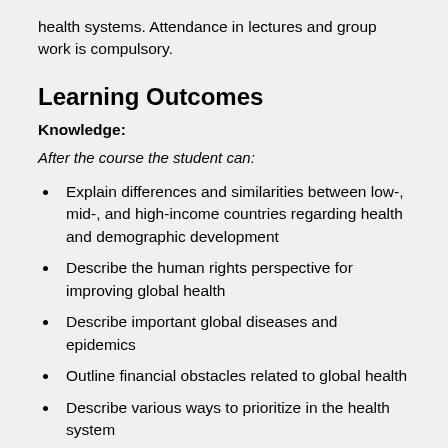health systems. Attendance in lectures and group work is compulsory.
Learning Outcomes
Knowledge:
After the course the student can:
Explain differences and similarities between low-, mid-, and high-income countries regarding health and demographic development
Describe the human rights perspective for improving global health
Describe important global diseases and epidemics
Outline financial obstacles related to global health
Describe various ways to prioritize in the health system